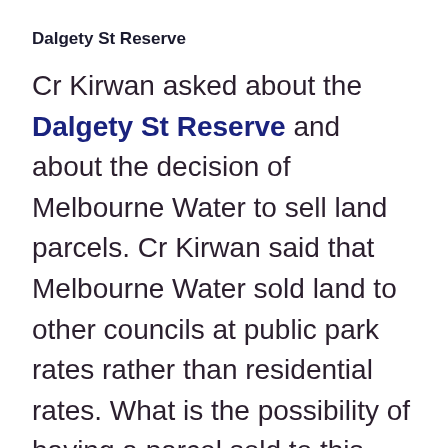Dalgety St Reserve
Cr Kirwan asked about the Dalgety St Reserve and about the decision of Melbourne Water to sell land parcels. Cr Kirwan said that Melbourne Water sold land to other councils at public park rates rather than residential rates. What is the possibility of having a parcel sold to this council at public park rates? The officer replied that the Minister